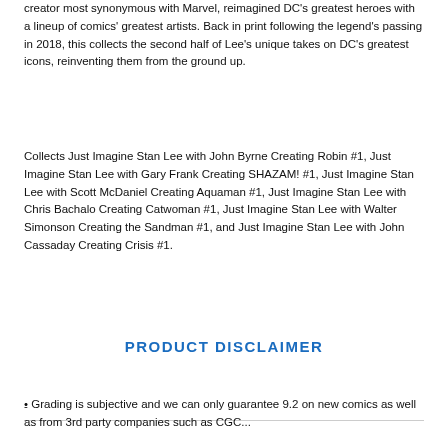creator most synonymous with Marvel, reimagined DC's greatest heroes with a lineup of comics' greatest artists. Back in print following the legend's passing in 2018, this collects the second half of Lee's unique takes on DC's greatest icons, reinventing them from the ground up.
Collects Just Imagine Stan Lee with John Byrne Creating Robin #1, Just Imagine Stan Lee with Gary Frank Creating SHAZAM! #1, Just Imagine Stan Lee with Scott McDaniel Creating Aquaman #1, Just Imagine Stan Lee with Chris Bachalo Creating Catwoman #1, Just Imagine Stan Lee with Walter Simonson Creating the Sandman #1, and Just Imagine Stan Lee with John Cassaday Creating Crisis #1.
-
PRODUCT DISCLAIMER
• Grading is subjective and we can only guarantee 9.2 on new comics as well as from 3rd party companies such as CGC...